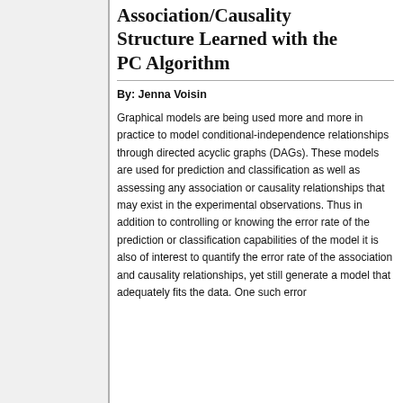Association/Causality Structure Learned with the PC Algorithm
By: Jenna Voisin
Graphical models are being used more and more in practice to model conditional-independence relationships through directed acyclic graphs (DAGs). These models are used for prediction and classification as well as assessing any association or causality relationships that may exist in the experimental observations. Thus in addition to controlling or knowing the error rate of the prediction or classification capabilities of the model it is also of interest to quantify the error rate of the association and causality relationships, yet still generate a model that adequately fits the data. One such error